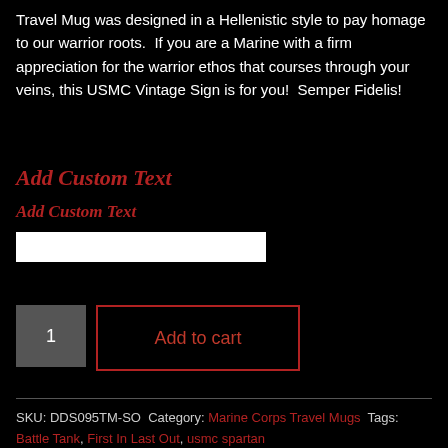Travel Mug was designed in a Hellenistic style to pay homage to our warrior roots. If you are a Marine with a firm appreciation for the warrior ethos that courses through your veins, this USMC Vintage Sign is for you! Semper Fidelis!
Add Custom Text
Add Custom Text
[text input field]
1  Add to cart
SKU: DDS095TM-SO Category: Marine Corps Travel Mugs Tags: Battle Tank, First In Last Out, usmc spartan